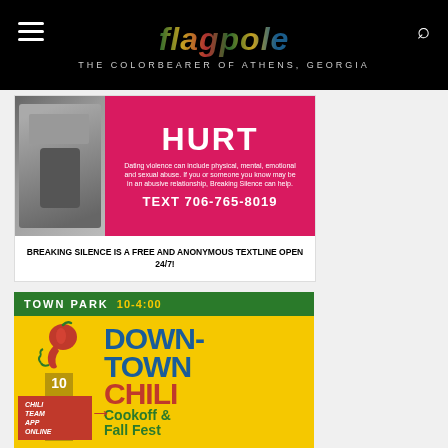flagpole — THE COLORBEARER OF ATHENS, GEORGIA
[Figure (photo): Breaking Silence ad with pink/magenta background showing 'HURT' in large white text, body text about dating violence, and phone number TEXT 706-765-8019]
BREAKING SILENCE IS A FREE AND ANONYMOUS TEXTLINE OPEN 24/7!
[Figure (photo): Downtown Chili Cookoff & Fall Fest advertisement on yellow background. Town Park 10-4:00. Date 10-01-22. Chili Team App Online. Large blue text DOWNTOWN, red text CHILI, green text COOKOFF & FALL FEST.]